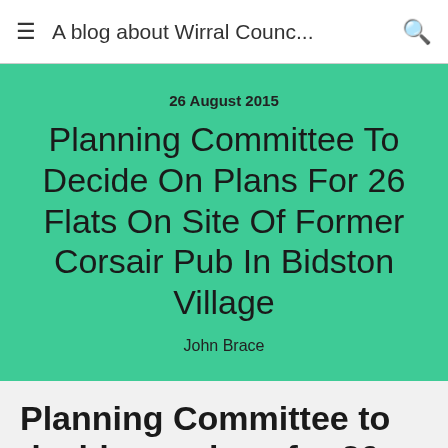A blog about Wirral Counc...
26 August 2015
Planning Committee To Decide On Plans For 26 Flats On Site Of Former Corsair Pub In Bidston Village
John Brace
Planning Committee to decide on plans for 26 flats